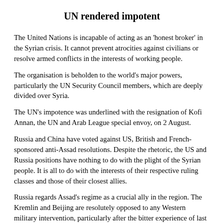UN rendered impotent
The United Nations is incapable of acting as an 'honest broker' in the Syrian crisis. It cannot prevent atrocities against civilians or resolve armed conflicts in the interests of working people.
The organisation is beholden to the world's major powers, particularly the UN Security Council members, which are deeply divided over Syria.
The UN's impotence was underlined with the resignation of Kofi Annan, the UN and Arab League special envoy, on 2 August.
Russia and China have voted against US, British and French-sponsored anti-Assad resolutions. Despite the rhetoric, the US and Russia positions have nothing to do with the plight of the Syrian people. It is all to do with the interests of their respective ruling classes and those of their closest allies.
Russia regards Assad's regime as a crucial ally in the region. The Kremlin and Beijing are resolutely opposed to any Western military intervention, particularly after the bitter experience of last year's Libyan conflict.
While some US, British and French politicians have mooted the idea of Western military action against Assad's regime, last year's Nato attacks in Libya cannot be simply repeated in this context.
Syria has a much larger population than Libya and the regime has at its disposal much greater military force than the one that was toppled there.